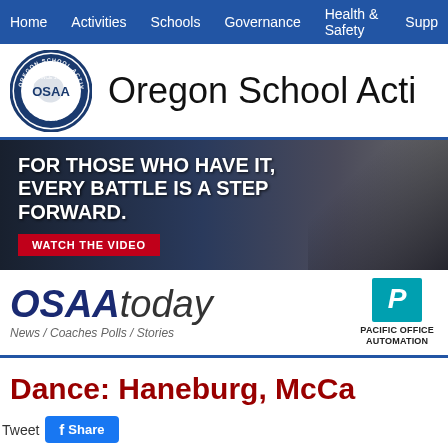Home | Activities | Schools | Governance | Health & Safety | Supp...
[Figure (logo): OSAA circular seal logo with Oregon School Activities Association text and OSAA letters]
Oregon School Acti...
[Figure (photo): Banner advertisement with dark background and athlete silhouette. Text: FOR THOSE WHO HAVE IT, EVERY BATTLE IS A STEP FORWARD. WATCH THE VIDEO button.]
[Figure (logo): OSAAtoday logo with tagline News / Coaches Polls / Stories and Pacific Office Automation sponsor logo]
Dance: Haneburg, McCa...
Tweet  Share